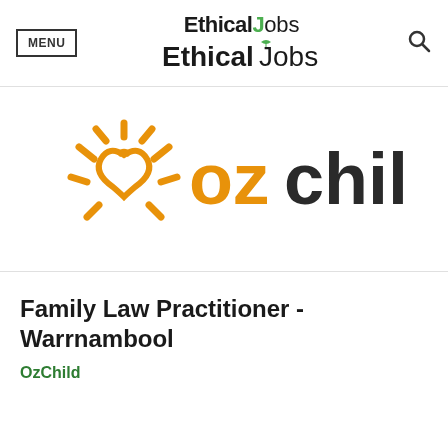MENU | EthicalJobs
[Figure (logo): OzChild logo — orange sun/heart icon on the left with rays, followed by orange 'oz' and dark grey 'child' wordmark]
Family Law Practitioner - Warrnambool
OzChild